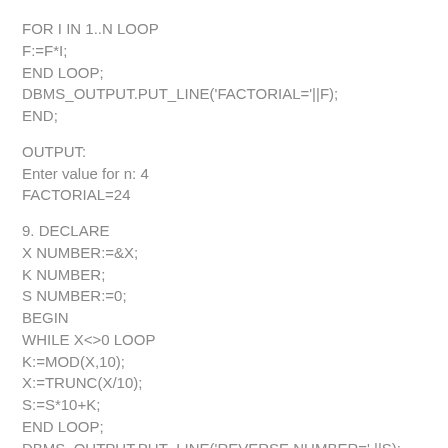FOR I IN 1..N LOOP
F:=F*I;
END LOOP;
DBMS_OUTPUT.PUT_LINE('FACTORIAL='||F);
END;
OUTPUT:
Enter value for n: 4
FACTORIAL=24
9. DECLARE
X NUMBER:=&X;
K NUMBER;
S NUMBER:=0;
BEGIN
WHILE X<>0 LOOP
K:=MOD(X,10);
X:=TRUNC(X/10);
S:=S*10+K;
END LOOP;
DBMS_OUTPUT.PUT_LINE('REVERSE NUMBER=' ||S);
END;